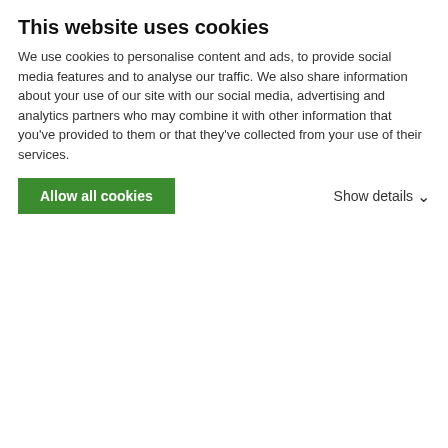This website uses cookies
We use cookies to personalise content and ads, to provide social media features and to analyse our traffic. We also share information about your use of our site with our social media, advertising and analytics partners who may combine it with other information that you've provided to them or that they've collected from your use of their services.
Allow all cookies   Show details
Cerro Hermoso at sundown seen from the BC
Cerro Dos Picos main routes
[Figure (photo): Cerro Dos Picos Zorro Colorado Route topo — broken image placeholder link]
Cerro Dos Picos East summit
- South-African route - A South-African team summited the East horn climbing a route without leaving any other